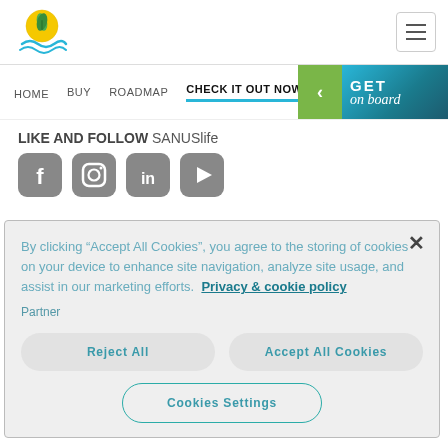[Figure (logo): SANUSlife logo: a circular sun/flower emblem above water waves, yellow and green tones]
[Figure (illustration): Hamburger menu icon (three horizontal lines) in a bordered square]
HOME   BUY   ROADMAP   CHECK IT OUT NOW
[Figure (illustration): Green and teal 'GET on board' banner with left-pointing arrow on the right side of navbar]
LIKE AND FOLLOW SANUSlife
[Figure (illustration): Four social media icons: Facebook, Instagram, LinkedIn, YouTube]
By clicking "Accept All Cookies", you agree to the storing of cookies on your device to enhance site navigation, analyze site usage, and assist in our marketing efforts. Privacy & cookie policy
Partner
Reject All
Accept All Cookies
Cookies Settings